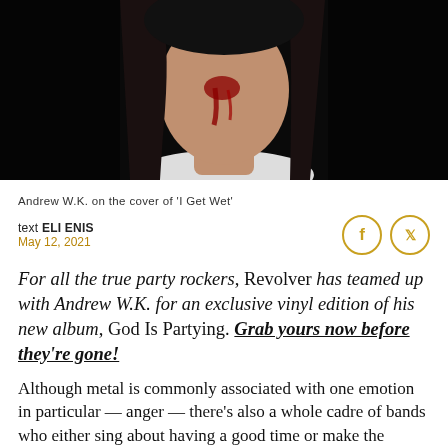[Figure (photo): Andrew W.K. with blood on his face and neck, wearing a white shirt, against a dark background — the cover of 'I Get Wet']
Andrew W.K. on the cover of 'I Get Wet'
text ELI ENIS
May 12, 2021
For all the true party rockers, Revolver has teamed up with Andrew W.K. for an exclusive vinyl edition of his new album, God Is Partying. Grab yours now before they're gone!
Although metal is commonly associated with one emotion in particular — anger — there's also a whole cadre of bands who either sing about having a good time or make the perfect music for doing so. Sure, metal's heavy riffs and cathartic